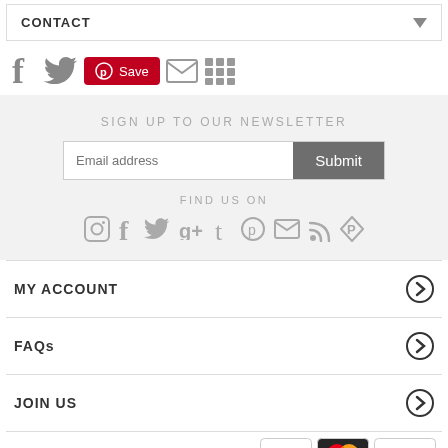CONTACT
[Figure (infographic): Social share icons: Facebook, Twitter, Pinterest Save button, Email, Grid/more]
SIGN UP TO OUR NEWSLETTER
Email address  Submit
FIND US ON
[Figure (infographic): Footer social icons: Instagram, Facebook, Twitter, Google+, Tumblr, Pinterest, Email, RSS, Product Hunt]
MY ACCOUNT
FAQs
JOIN US
[Figure (infographic): Payment method logos: VISA, Mastercard, PayPal]